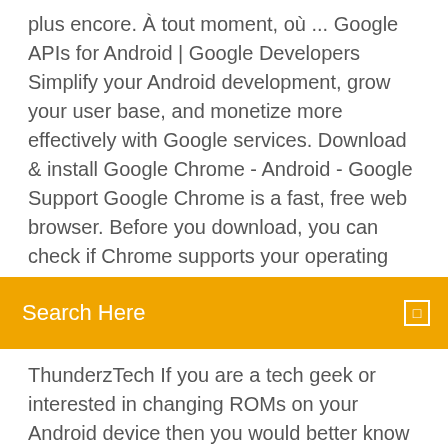plus encore. À tout moment, où ... Google APIs for Android | Google Developers Simplify your Android development, grow your user base, and monetize more effectively with Google services. Download & install Google Chrome - Android - Google Support Google Chrome is a fast, free web browser. Before you download, you can check if Chrome supports your operating
Search Here
ThunderzTech If you are a tech geek or interested in changing ROMs on your Android device then you would better know the importance of Google apps a.k.a Gapps.
13 Feb 2017 … The final developer preview for Android Nougat 7.0 update is out, and Google has announced the release date for the official release of …
That's it! If you have successfully installed latest Android 7.1 Nougat Google Apps (Gapps) on your Android device please give us your feed back. Google Account Manager APK For Android